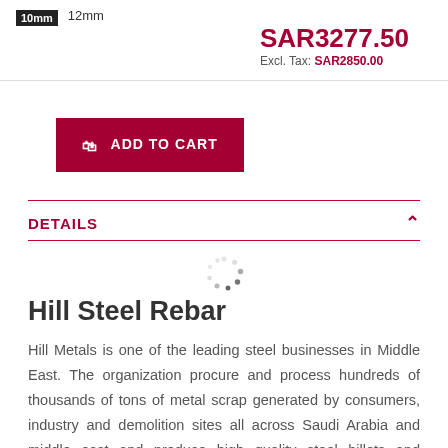10mm
12mm
SAR3277.50
Excl. Tax: SAR2850.00
ADD TO CART
DETAILS
[Figure (other): Loading spinner dots circle]
Hill Steel Rebar
Hill Metals is one of the leading steel businesses in Middle East. The organization procure and process hundreds of thousands of tons of metal scrap generated by consumers, industry and demolition sites all across Saudi Arabia and middle east and produce high quality steel billets and Rebars. With state of the art manufacturing facilities